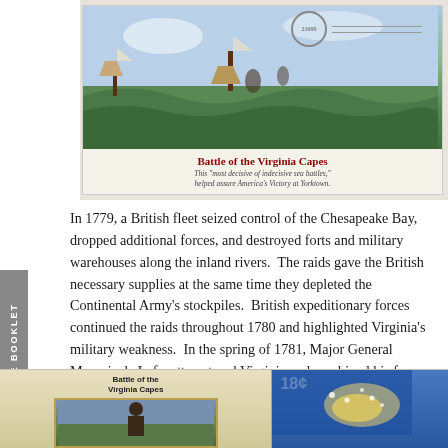[Figure (illustration): First Day Cover envelope depicting the Battle of the Virginia Capes, showing naval ships and figures in a stormy sea scene with green waves. Includes postmark and address lines. Caption reads 'Battle of the Virginia Capes' with subtitle 'This most decisive of indecisive sea battles, helped assure America's Victory at Yorktown.']
In 1779, a British fleet seized control of the Chesapeake Bay, dropped additional forces, and destroyed forts and military warehouses along the inland rivers. The raids gave the British necessary supplies at the same time they depleted the Continental Army's stockpiles. British expeditionary forces continued the raids throughout 1780 and highlighted Virginia's military weakness. In the spring of 1781, Major General Marquis de Lafayette entered Virginia and combined his forces with those of General Anthony Wayne. They reached Richmond just in time to prevent the British from burning the capital.
[Figure (illustration): Two postage stamps visible at the bottom. Left stamp titled 'Battle of the Virginia Capes' showing a Revolutionary War era figure. Right stamp shows an 18¢ stamp with a blue background depicting a map and ship positions.]